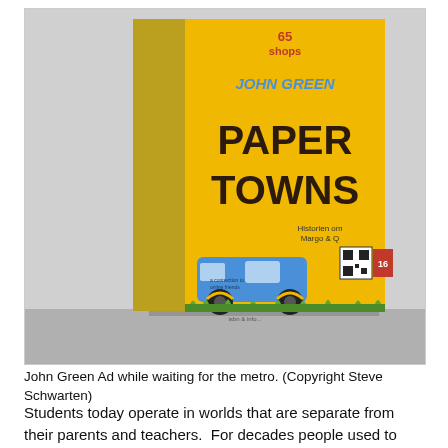[Figure (photo): Photograph of the book 'Paper Towns' by John Green with a yellow cover featuring a blue van illustration and the text 'JOHN GREEN PAPER TOWNS'. The book is standing upright in what appears to be a bookstore or shop display. The spine reads 'JOHN GREEN PAPER TOWNS'. A QR code and price tag are visible on the cover.]
John Green Ad while waiting for the metro. (Copyright Steve Schwarten)
Students today operate in worlds that are separate from their parents and teachers.  For decades people used to complain